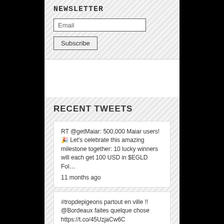NEWSLETTER
Email
Subscribe
RECENT TWEETS
RT @getMaiar: 500,000 Maiar users! 🎉 Let's celebrate this amazing milestone together: 10 lucky winners will each get 100 USD in $EGLD Fol…
11 months ago
#tropdepigeons partout en ville !! @Bordeaux faites quelque chose https://t.co/45UzjaCw6C